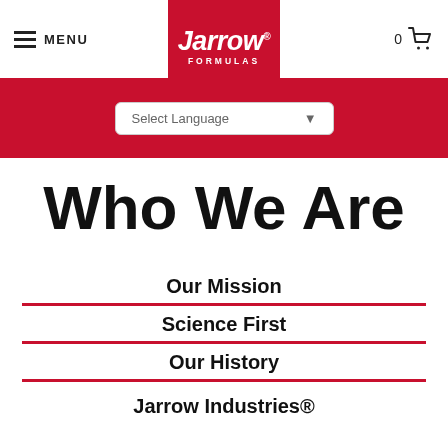MENU | Jarrow Formulas | 0 (cart)
[Figure (screenshot): Red banner with Select Language dropdown]
Who We Are
Our Mission
Science First
Our History
Jarrow Industries®